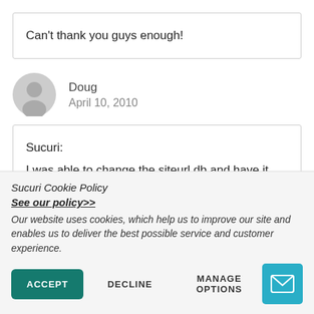Can't thank you guys enough!
Doug
April 10, 2010
Sucuri:
I was able to change the siteurl db and have it take effect even when I had the WP_SITEURL thing in wp-
Sucuri Cookie Policy
See our policy>>
Our website uses cookies, which help us to improve our site and enables us to deliver the best possible service and customer experience.
ACCEPT   DECLINE   MANAGE OPTIONS